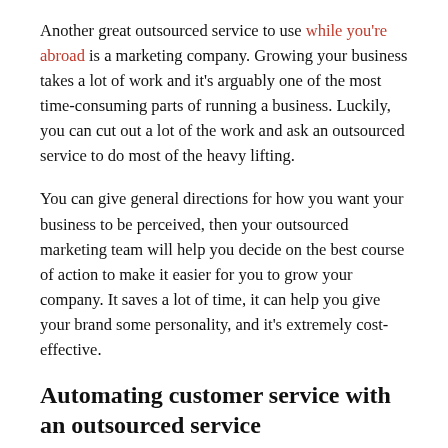Another great outsourced service to use while you're abroad is a marketing company. Growing your business takes a lot of work and it's arguably one of the most time-consuming parts of running a business. Luckily, you can cut out a lot of the work and ask an outsourced service to do most of the heavy lifting.
You can give general directions for how you want your business to be perceived, then your outsourced marketing team will help you decide on the best course of action to make it easier for you to grow your company. It saves a lot of time, it can help you give your brand some personality, and it's extremely cost-effective.
Automating customer service with an outsourced service
Customer service is arguably one of the most difficult things to handle when you're working remotely. This is much harder when you run an international business that never really closes